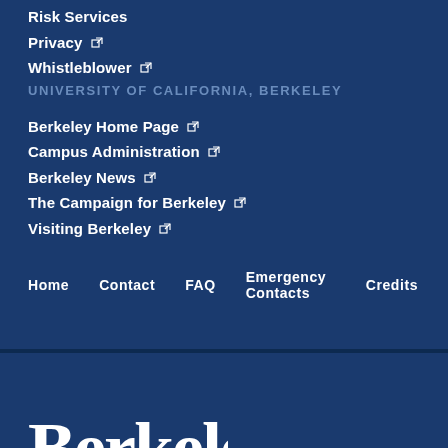Risk Services
Privacy
Whistleblower
UNIVERSITY OF CALIFORNIA, BERKELEY
Berkeley Home Page
Campus Administration
Berkeley News
The Campaign for Berkeley
Visiting Berkeley
Home  Contact  FAQ  Emergency Contacts  Credits
[Figure (logo): Berkeley University of California logo in white]
Powered by Open Berkeley
Accessibility